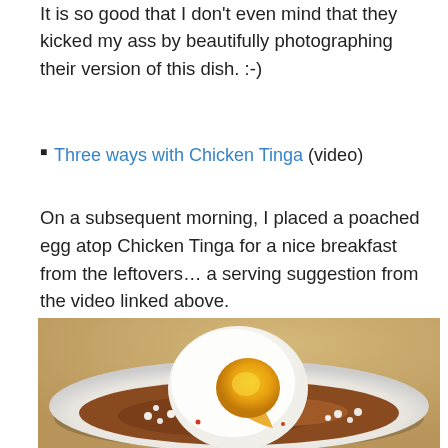It is so good that I don't even mind that they kicked my ass by beautifully photographing their version of this dish. :-)
Three ways with Chicken Tinga (video)
On a subsequent morning, I placed a poached egg atop Chicken Tinga for a nice breakfast from the leftovers… a serving suggestion from the video linked above.
[Figure (photo): A close-up photo of a poached egg with runny yolk placed atop Chicken Tinga with crumbled white cheese on a white plate, shot from above on a wooden surface.]